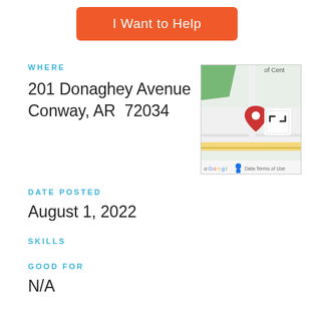I Want to Help
WHERE
201 Donaghey Avenue
Conway, AR  72034
[Figure (map): Google Maps thumbnail showing location pin at 201 Donaghey Avenue, Conway, AR with partial text 'of Cent' visible and 'Data  Terms of Use' at bottom]
DATE POSTED
August 1, 2022
SKILLS
GOOD FOR
N/A
REQUIREMENTS
WEEKDAYS, FULL_TIME